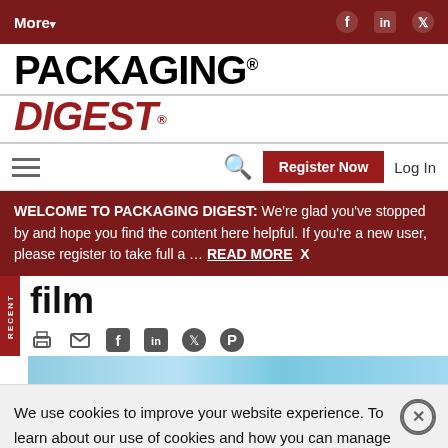More▾  [social icons: Facebook, LinkedIn, Twitter]
[Figure (logo): Packaging Digest logo — PACKAGING in black bold, DIGEST in dark red bold, with registered trademark symbol]
Hamburger menu | Search | Register Now | Log In
WELCOME TO PACKAGING DIGEST: We're glad you've stopped by and hope you find the content here helpful. If you're a new user, please register to take full a … READ MORE  X
film
[Figure (photo): Partial image of a blue-toned packaging film product]
We use cookies to improve your website experience. To learn about our use of cookies and how you can manage your cookie settings, please see our Cookie Policy. By continuing to use the website, you consent to our use of cookies.